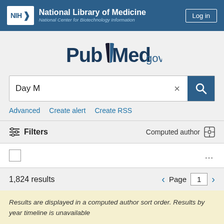NIH National Library of Medicine National Center for Biotechnology Information | Log in
[Figure (logo): PubMed.gov logo with open book icon]
Day M
Advanced   Create alert   Create RSS
Filters   Computed author
1,824 results   Page 1
Results are displayed in a computed author sort order. Results by year timeline is unavailable